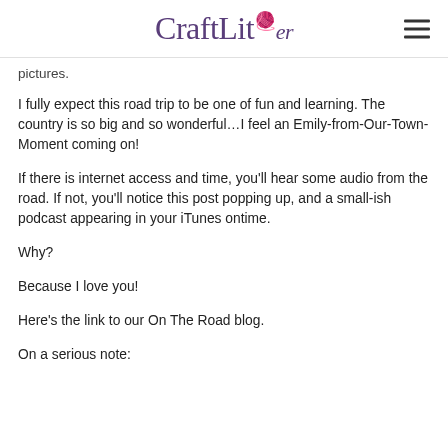CraftLit
pictures.
I fully expect this road trip to be one of fun and learning. The country is so big and so wonderful…I feel an Emily-from-Our-Town-Moment coming on!
If there is internet access and time, you'll hear some audio from the road. If not, you'll notice this post popping up, and a small-ish podcast appearing in your iTunes ontime.
Why?
Because I love you!
Here's the link to our On The Road blog.
On a serious note: